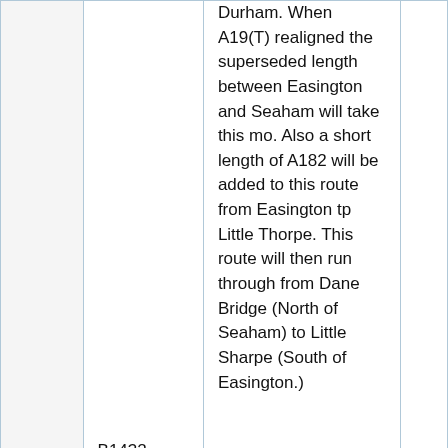|  | Route | Description |  |
| --- | --- | --- | --- |
|  | B1432 | Durham. When A19(T) realigned the superseded length between Easington and Seaham will take this mo. Also a short length of A182 will be added to this route from Easington tp Little Thorpe. This route will then run through from Dane Bridge (North of Seaham) to Little Sharpe (South of Easington.) |  |
|  | B1433 | Gainsborough (Northolme.) |  |
|  | B1434 | E.of Brigg - Moortown |  |